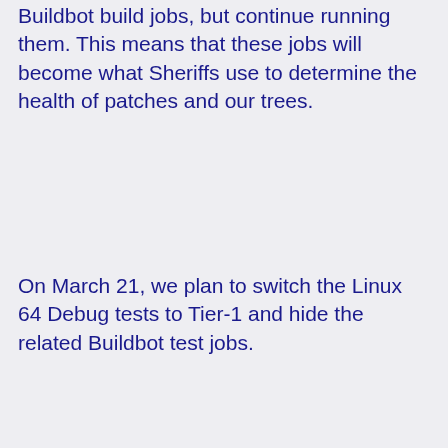Buildbot build jobs, but continue running them. This means that these jobs will become what Sheriffs use to determine the health of patches and our trees.
On March 21, we plan to switch the Linux 64 Debug tests to Tier-1 and hide the related Buildbot test jobs.
After about 30 days, we plan to disable and remove all Buildbot jobs related to Linux Debug.
Background:
We've been running Linux 64 Debug builds and tests using TaskCluster side-by-side with Buildbot jobs since February 18th. Some of